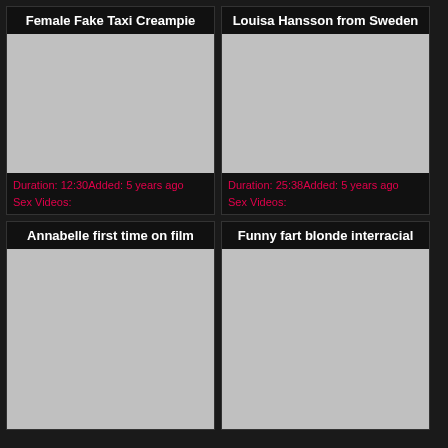Female Fake Taxi Creampie
[Figure (photo): Gray placeholder thumbnail for Female Fake Taxi Creampie video]
Duration: 12:30Added: 5 years ago
Sex Videos:
Louisa Hansson from Sweden
[Figure (photo): Gray placeholder thumbnail for Louisa Hansson from Sweden video]
Duration: 25:38Added: 5 years ago
Sex Videos:
Annabelle first time on film
[Figure (photo): Gray placeholder thumbnail for Annabelle first time on film video]
Funny fart blonde interracial
[Figure (photo): Gray placeholder thumbnail for Funny fart blonde interracial video]